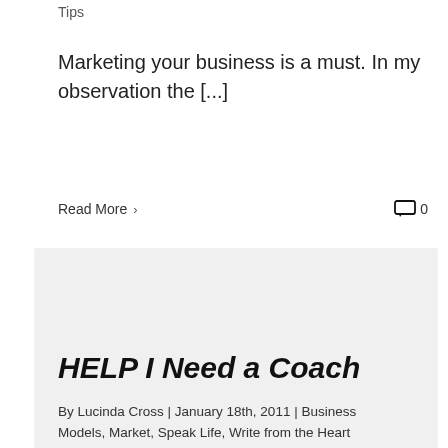Tips
Marketing your business is a must. In my observation the [...]
Read More ›        💬 0
[Figure (photo): Gray placeholder image box]
HELP I Need a Coach
By Lucinda Cross | January 18th, 2011 | Business Models, Market, Speak Life, Write from the Heart